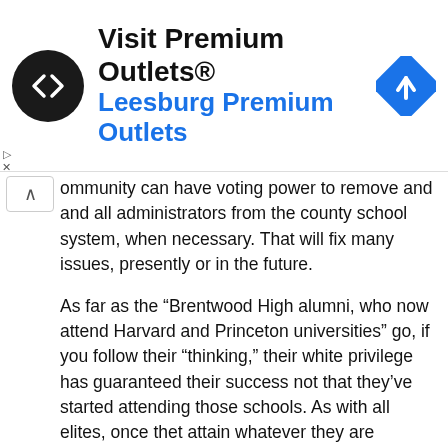[Figure (screenshot): Advertisement banner for Visit Premium Outlets® — Leesburg Premium Outlets, with a circular black logo with white arrows, and a blue diamond navigation icon on the right.]
ommunity can have voting power to remove and and all administrators from the county school system, when necessary. That will fix many issues, presently or in the future.
As far as the “Brentwood High alumni, who now attend Harvard and Princeton universities” go, if you follow their “thinking,” their white privilege has guaranteed their success not that they’ve started attending those schools. As with all elites, once thet attain whatever they are seeking, they tend to pull up the ladder behind them, so no one else can follow.
Perfect examples: Bill Gates, Warren Buffet,, Zuckerberg, et al. They got theirs, now it’s time to stop others from